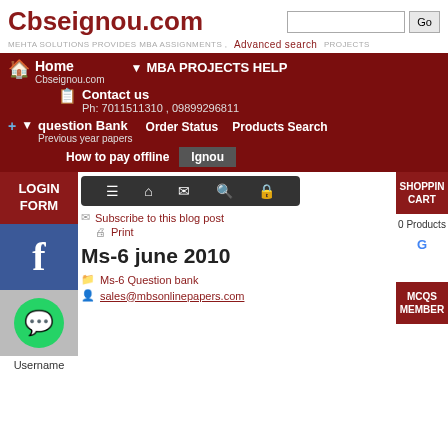Cbseignou.com
MEHTA SOLUTIONS PROVIDES MBA ASSIGNMENTS , Advanced search PROJECTS
[Figure (screenshot): Website navigation bar with dark red background containing Home, MBA PROJECTS HELP, Contact us (Ph: 7011511310, 09899296811), question Bank / Previous year papers, Order Status, Products Search, How to pay offline, Ignou buttons]
LOGIN FORM
[Figure (screenshot): Icon toolbar with hamburger menu, home, envelope, search and lock icons on dark background]
[Figure (screenshot): Facebook logo blue box]
[Figure (screenshot): WhatsApp green circle icon]
Username
Subscribe to this blog post
Print
Ms-6 june 2010
Ms-6 Question bank
sales@mbsonlinepapers.com
SHOPPING CART
0 Products
MCQS MEMBER